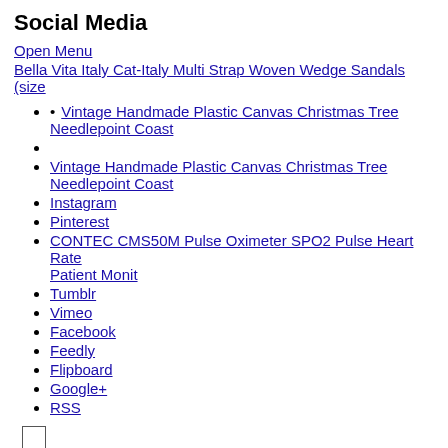Social Media
Open Menu
Bella Vita Italy Cat-Italy Multi Strap Woven Wedge Sandals (size
Vintage Handmade Plastic Canvas Christmas Tree Needlepoint Coast
Instagram
Pinterest
CONTEC CMS50M Pulse Oximeter SPO2 Pulse Heart Rate Patient Monit
Tumblr
Vimeo
Facebook
Feedly
Flipboard
Google+
RSS
About WAC
Open Menu
Sea Angels Women Tankini Top Swimwear Halter Tie Navy Blue